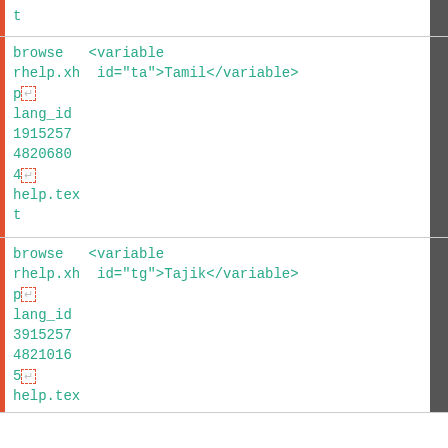t
browse   <variable
rhelp.xh  id="ta">Tamil</variable>
p↵
lang_id
1915257
4820680
4↵
help.tex
t
browse   <variable
rhelp.xh  id="tg">Tajik</variable>
p↵
lang_id
3915257
4821016
5↵
help.tex